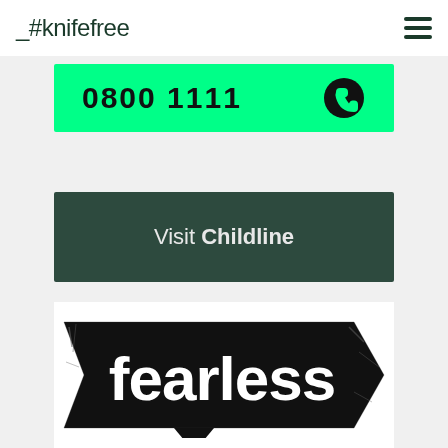_#knifefree
[Figure (other): Green button showing phone number 0800 1111 with a phone/chat icon]
[Figure (other): Dark green button with text 'Visit Childline']
[Figure (logo): Fearless logo — white bold text 'fearless' on a black arrow/banner shape with a distressed texture]